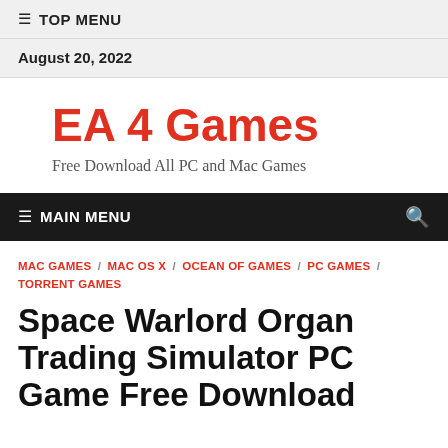≡ TOP MENU
August 20, 2022
EA 4 Games
Free Download All PC and Mac Games
≡ MAIN MENU
MAC GAMES / MAC OS X / OCEAN OF GAMES / PC GAMES / TORRENT GAMES
Space Warlord Organ Trading Simulator PC Game Free Download